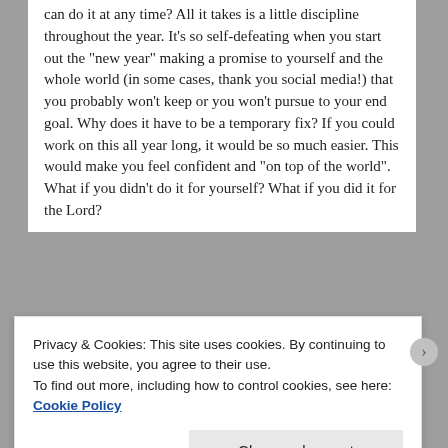can do it at any time? All it takes is a little discipline throughout the year. It's so self-defeating when you start out the "new year" making a promise to yourself and the whole world (in some cases, thank you social media!) that you probably won't keep or you won't pursue to your end goal. Why does it have to be a temporary fix? If you could work on this all year long, it would be so much easier. This would make you feel confident and "on top of the world". What if you didn't do it for yourself? What if you did it for the Lord?
[Figure (other): Advertisement banner with text 'and on a budget?' and a 'W' logo on beige background, with 'REPORT THIS AD' label below]
Privacy & Cookies: This site uses cookies. By continuing to use this website, you agree to their use.
To find out more, including how to control cookies, see here: Cookie Policy